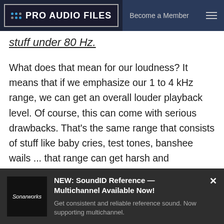PRO AUDIO FILES | Become a Member
stuff under 80 Hz.
What does that mean for our loudness? It means that if we emphasize our 1 to 4 kHz range, we can get an overall louder playback level. Of course, this can come with serious drawbacks. That’s the same range that consists of stuff like baby cries, test tones, banshee wails ... that range can get harsh and unpleasant pretty quick.
[Figure (infographic): Advertisement banner for Sonarworks SoundID Reference Multichannel. Dark background with Sonarworks logo on left, bold text 'NEW: SoundID Reference — Multichannel Available Now!' and subtitle 'Get consistent and reliable reference sound. Now supporting multichannel.' Close button (x) top right.]